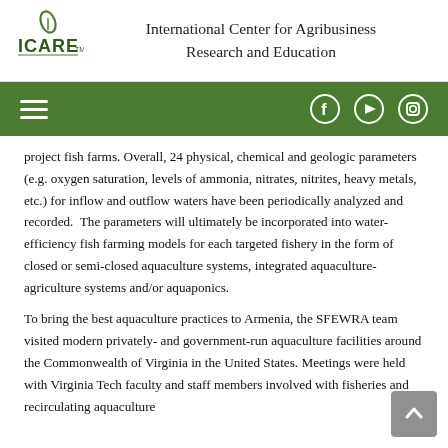International Center for Agribusiness Research and Education
project fish farms. Overall, 24 physical, chemical and geologic parameters (e.g. oxygen saturation, levels of ammonia, nitrates, nitrites, heavy metals, etc.) for inflow and outflow waters have been periodically analyzed and recorded.  The parameters will ultimately be incorporated into water-efficiency fish farming models for each targeted fishery in the form of closed or semi-closed aquaculture systems, integrated aquaculture-agriculture systems and/or aquaponics.
To bring the best aquaculture practices to Armenia, the SFEWRA team visited modern privately- and government-run aquaculture facilities around the Commonwealth of Virginia in the United States. Meetings were held with Virginia Tech faculty and staff members involved with fisheries and recirculating aquaculture